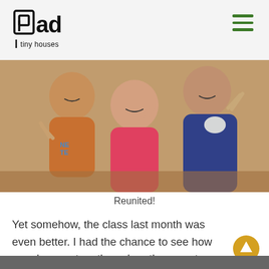pad tiny houses
[Figure (photo): Family photo showing smiling adults and children making peace signs, appearing joyful and close together indoors]
Reunited!
Yet somehow, the class last month was even better. I had the chance to see how people grow together when they meet monthly to make mistakes and figure stuff out: they bond, and grow intensely protective and supportive.